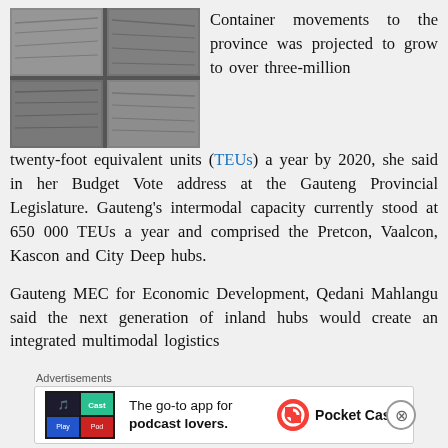[Figure (photo): Close-up photograph of stacked grey concrete or stone blocks/slabs in a grid-like arrangement]
Container movements to the province was projected to grow to over three-million twenty-foot equivalent units (TEUs) a year by 2020, she said in her Budget Vote address at the Gauteng Provincial Legislature. Gauteng's intermodal capacity currently stood at 650 000 TEUs a year and comprised the Pretcon, Vaalcon, Kascon and City Deep hubs.
Gauteng MEC for Economic Development, Qedani Mahlangu said the next generation of inland hubs would create an integrated multimodal logistics
Advertisements
[Figure (infographic): Pocket Casts advertisement banner: colorful logo on left, text 'The go-to app for podcast lovers.' in center, Pocket Casts icon and brand name on right]